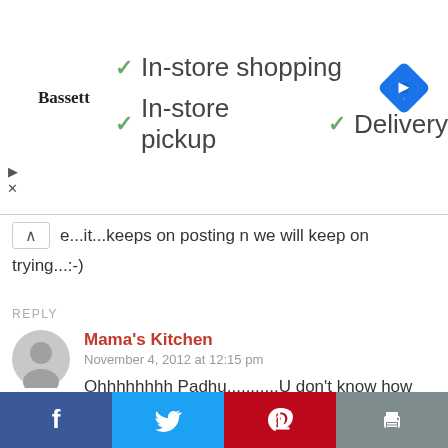[Figure (screenshot): Advertisement banner for Bassett showing checkmarks next to In-store shopping, In-store pickup, and Delivery, with a blue diamond navigation icon on the right, and close/skip icons on the left]
e...it...keeps on posting n we will keep on trying...:-)
REPLY
Mama's Kitchen
November 4, 2012 at 12:15 pm
Ohhhhhhhh Padhu...........U don't know how thankful 'm for this recipe....i tried it now n it came out so well.its like my dream come true.n that too my boy's b'day is nearing n i badly needed to do it....Pls go on
[Figure (screenshot): Social sharing bar with Facebook, Twitter, Pinterest, and Print buttons]